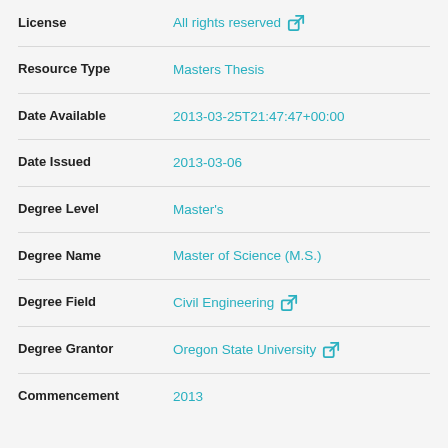| Field | Value |
| --- | --- |
| License | All rights reserved |
| Resource Type | Masters Thesis |
| Date Available | 2013-03-25T21:47:47+00:00 |
| Date Issued | 2013-03-06 |
| Degree Level | Master's |
| Degree Name | Master of Science (M.S.) |
| Degree Field | Civil Engineering |
| Degree Grantor | Oregon State University |
| Commencement | 2013 |